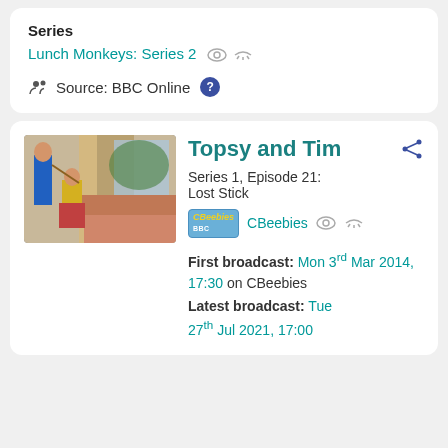Series
Lunch Monkeys: Series 2
Source: BBC Online
Topsy and Tim
Series 1, Episode 21: Lost Stick
CBeebies
First broadcast: Mon 3rd Mar 2014, 17:30 on CBeebies
Latest broadcast: Tue 27th Jul 2021, 17:00